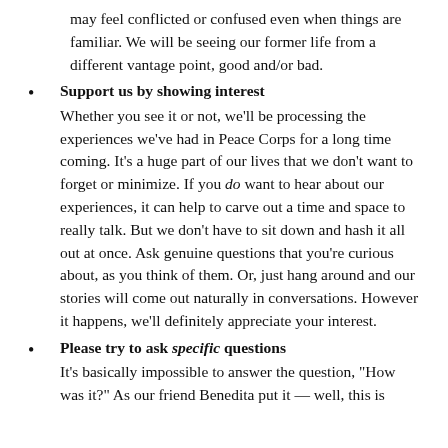may feel conflicted or confused even when things are familiar. We will be seeing our former life from a different vantage point, good and/or bad.
Support us by showing interest
Whether you see it or not, we'll be processing the experiences we've had in Peace Corps for a long time coming. It's a huge part of our lives that we don't want to forget or minimize. If you do want to hear about our experiences, it can help to carve out a time and space to really talk. But we don't have to sit down and hash it all out at once. Ask genuine questions that you're curious about, as you think of them. Or, just hang around and our stories will come out naturally in conversations. However it happens, we'll definitely appreciate your interest.
Please try to ask specific questions
It's basically impossible to answer the question, "How was it?" As our friend Benedita put it — well, this is...